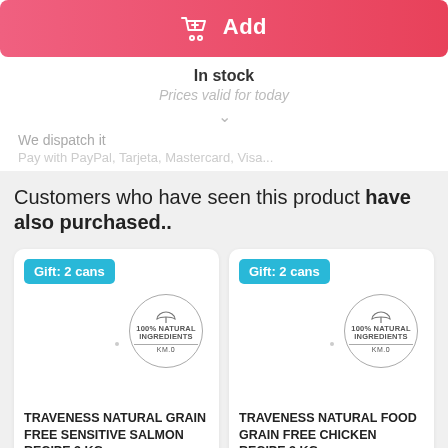[Figure (other): Pink gradient Add to cart button with shopping cart icon]
In stock
Prices valid for today
We dispatch it
Pay with PayPal, Tarjeta, Mastercard, Visa...
Customers who have seen this product have also purchased..
[Figure (other): Product card: Gift: 2 cans badge, 100% Natural Ingredients KM.0 badge, TRAVENESS Natural Grain Free Sensitive Salmon Recipe 3 Kg]
[Figure (other): Product card: Gift: 2 cans badge, 100% Natural Ingredients KM.0 badge, TRAVENESS Natural Food Grain Free Chicken Recipe 3 Kg]